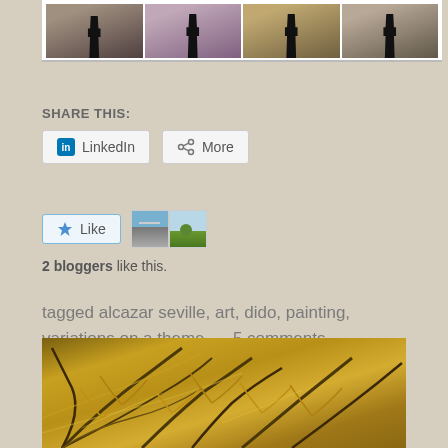[Figure (photo): Strip of four black-and-white/color photos showing silhouetted figures in dark coats in various indoor settings]
SHARE THIS:
LinkedIn   More
[Figure (infographic): Like button with star icon and two blogger avatar thumbnails (road photo, tree photo)]
2 bloggers like this.
tagged alcazar seville, art, dido, painting, variations on a theme      5 comments
[Figure (photo): Painting of golden palm fronds with loose brushwork in warm yellows, browns and greens]